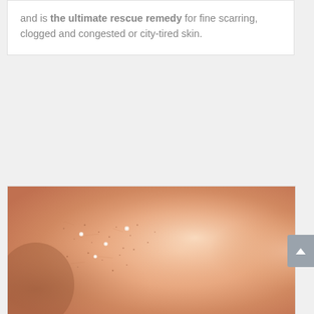and is the ultimate rescue remedy for fine scarring, clogged and congested or city-tired skin.
[Figure (photo): Close-up macro photograph of human skin on the cheek showing enlarged pores, fine texture, and small milia (white spots) on the skin surface.]
MILIA REMOVAL
Say farewell to those little white spots with